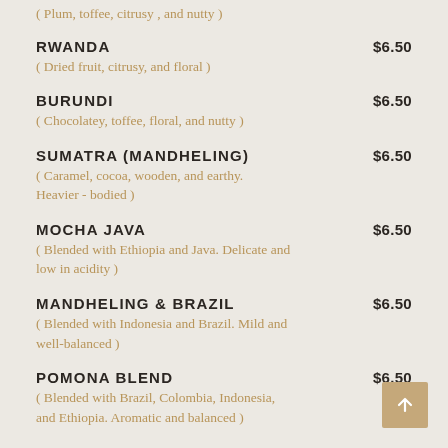( Plum, toffee, citrusy , and nutty )
RWANDA $6.50
( Dried fruit, citrusy, and floral )
BURUNDI $6.50
( Chocolatey, toffee, floral, and nutty )
SUMATRA (MANDHELING) $6.50
( Caramel, cocoa, wooden, and earthy. Heavier - bodied )
MOCHA JAVA $6.50
( Blended with Ethiopia and Java. Delicate and low in acidity )
MANDHELING & BRAZIL $6.50
( Blended with Indonesia and Brazil. Mild and well-balanced )
POMONA BLEND $6.50
( Blended with Brazil, Colombia, Indonesia, and Ethiopia. Aromatic and balanced )